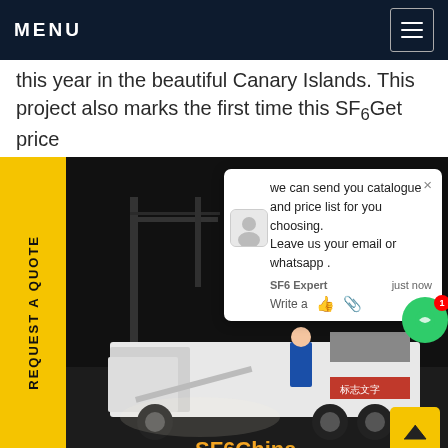MENU
this year in the beautiful Canary Islands. This project also marks the first time this SF6Get price
[Figure (photo): Night photo of a truck with equipment at an electrical substation, workers visible, industrial setting. Overlay elements include a yellow vertical 'REQUEST A QUOTE' banner on the left, a chat popup on the upper right, a green chat bubble icon, a yellow scroll-to-top button, and 'SF6China' branding text at the bottom right.]